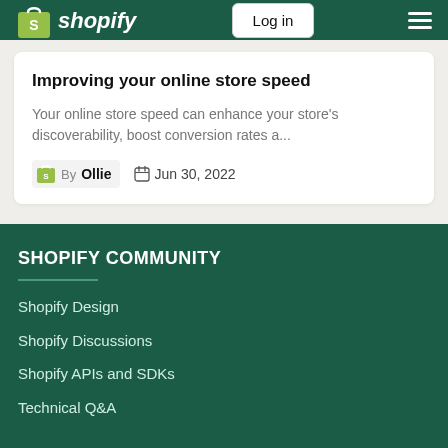Shopify — Log in
Improving your online store speed
Your online store speed can enhance your store's discoverability, boost conversion rates a...
By Ollie  Jun 30, 2022
SHOPIFY COMMUNITY
Shopify Design
Shopify Discussions
Shopify APIs and SDKs
Technical Q&A